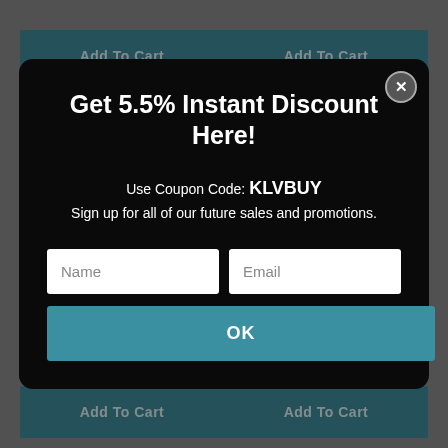[Figure (screenshot): E-commerce page background showing two 'Add to Cart' buttons at top, two product price pairs with strikethrough prices ($874.25/$583.27 and $934.95/$514.75) and two more 'Add to Cart' buttons at bottom, all on a gray background.]
Get 5.5% Instant Discount Here!
Use Coupon Code: KLVBUY
Sign up for all of our future sales and promotions.
Name
Email
OK